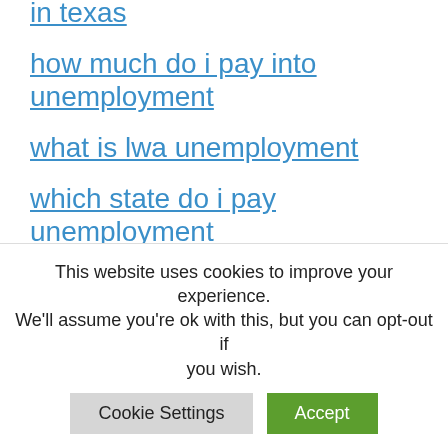in texas
how much do i pay into unemployment
what is lwa unemployment
which state do i pay unemployment taxes to
does severance pay affect unemployment in tennessee
is unemployment really lower
how long unemployment benefits last
This website uses cookies to improve your experience. We'll assume you're ok with this, but you can opt-out if you wish.
Cookie Settings | Accept